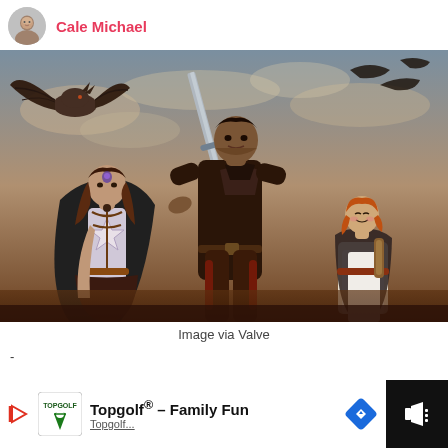Cale Michael
[Figure (illustration): Anime-style illustration showing three fantasy characters (two female, one large male with a sword) standing heroically with a dragon creature flying above in a cloudy sky. Image via Valve.]
Image via Valve
-
[Figure (screenshot): Advertisement bar at bottom: Topgolf® - Family Fun advertisement with Topgolf logo, play button arrow icon, and a blue navigation diamond icon. Dark panel on the right side with minimized content.]